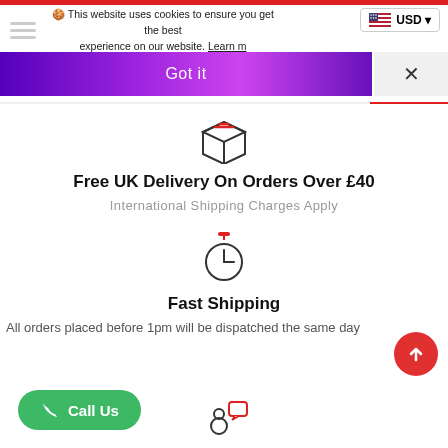This website uses cookies to ensure you get the best experience on our website. Learn m...
Got it
[Figure (infographic): Package/box icon with red stripes on top]
Free UK Delivery On Orders Over £40
International Shipping Charges Apply
[Figure (infographic): Stopwatch / clock icon with red top marker]
Fast Shipping
All orders placed before 1pm will be dispatched the same day
[Figure (infographic): Green Call Us button with phone icon]
[Figure (infographic): Person with chat/message bubble icon at bottom]